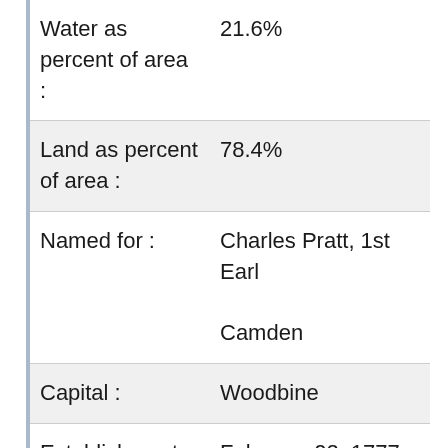| Water as percent of area : | 21.6% |
| Land as percent of area : | 78.4% |
| Named for : | Charles Pratt, 1st Earl Camden |
| Capital : | Woodbine |
| Establishment : | February 02, 1777 |
| Time Zone : | America/New_York |